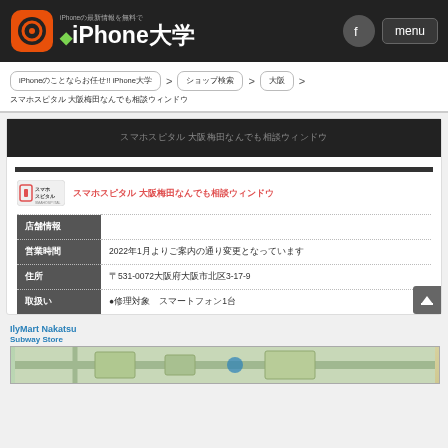iPhone大学
iPhoneのことならお任せ!! iPhone大学 > ショップ検索 > 大阪 >
スマホスピタル スマホスピタル大阪梅田なんでも相談ウィンドウ
スマホスピタル 大阪梅田なんでも相談ウィンドウ
| 項目 | 内容 |
| --- | --- |
| 店舗情報 |  |
| 営業時間 | 2022年1月よりご案内の通り変更となっています |
| 住所 | 〒531-0072大阪府大阪市北区3-17-9 |
| 取扱い | ●修理対象　スマートフォン1台 |
IlyMart Nakatsu Subway Store